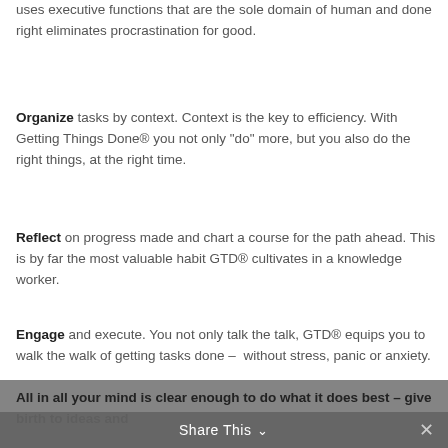uses executive functions that are the sole domain of human and done right eliminates procrastination for good.
Organize tasks by context. Context is the key to efficiency. With Getting Things Done® you not only “do” more, but you also do the right things, at the right time.
Reflect on progress made and chart a course for the path ahead. This is by far the most valuable habit GTD® cultivates in a knowledge worker.
Engage and execute. You not only talk the talk, GTD® equips you to walk the walk of getting tasks done –  without stress, panic or anxiety.
All in all your mind is clear enough to do what it does best – give birth to ideas and
Share This